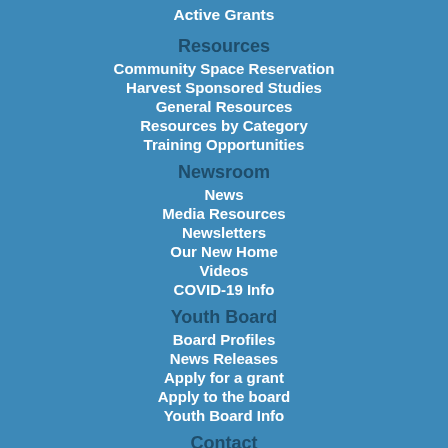Active Grants
Resources
Community Space Reservation
Harvest Sponsored Studies
General Resources
Resources by Category
Training Opportunities
Newsroom
News
Media Resources
Newsletters
Our New Home
Videos
COVID-19 Info
Youth Board
Board Profiles
News Releases
Apply for a grant
Apply to the board
Youth Board Info
Contact